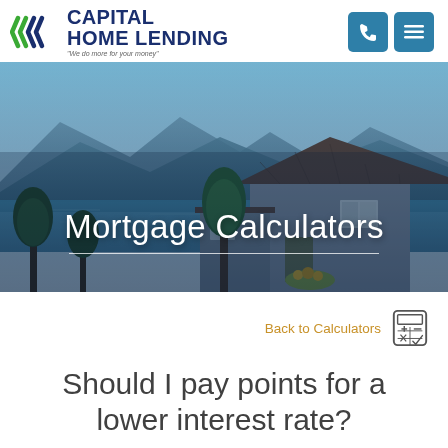Capital Home Lending – We do more for your money
[Figure (photo): Aerial/elevated view of a lakeside house with mountains in the background, blue sky and water, lush green trees in foreground. Overlay text reads 'Mortgage Calculators'.]
Mortgage Calculators
Back to Calculators
Should I pay points for a lower interest rate?